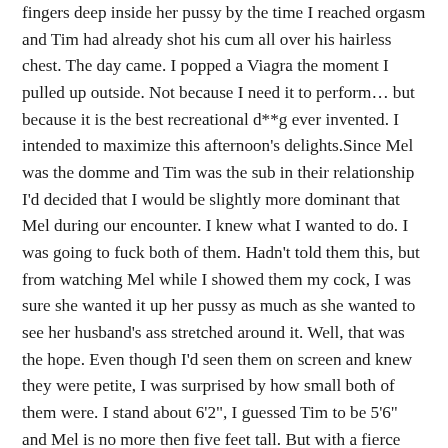fingers deep inside her pussy by the time I reached orgasm and Tim had already shot his cum all over his hairless chest. The day came. I popped a Viagra the moment I pulled up outside. Not because I need it to perform… but because it is the best recreational d**g ever invented. I intended to maximize this afternoon's delights.Since Mel was the domme and Tim was the sub in their relationship I'd decided that I would be slightly more dominant that Mel during our encounter. I knew what I wanted to do. I was going to fuck both of them. Hadn't told them this, but from watching Mel while I showed them my cock, I was sure she wanted it up her pussy as much as she wanted to see her husband's ass stretched around it. Well, that was the hope. Even though I'd seen them on screen and knew they were petite, I was surprised by how small both of them were. I stand about 6'2", I guessed Tim to be 5'6" and Mel is no more then five feet tall. But with a fierce way about her. Clearly she is in charge of Tim in all things. Anyway, I towered over them both as they greeted me at the door.There were a few minutes of awkward small talk. Nobody seemed to know what we should do. Mel offered coffee but I was feeling the Viagra kick in. I decided I should